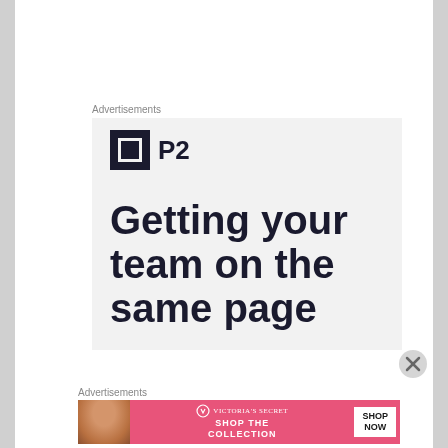Advertisements
[Figure (advertisement): P2 brand advertisement with dark background logo and large bold text reading 'Getting your team on the same page']
Advertisements
[Figure (advertisement): Victoria's Secret banner advertisement with model, VS logo, 'SHOP THE COLLECTION' text and 'SHOP NOW' button on pink background]